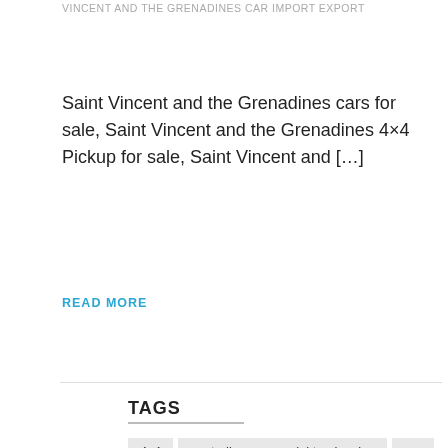VINCENT AND THE GRENADINES CAR IMPORT EXPORT
Saint Vincent and the Grenadines cars for sale, Saint Vincent and the Grenadines 4×4 Pickup for sale, Saint Vincent and […]
READ MORE
TAGS
4x4
australia commercial truck sales
car
commercial box trucks for sale
commercial delivery trucks for sale
commercial diesel trucks for sale
commercial flatbed trucks for sale